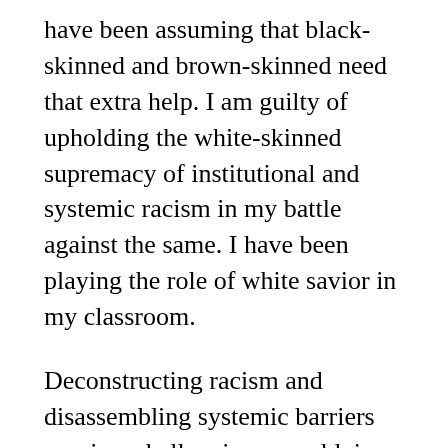have been assuming that black-skinned and brown-skinned need that extra help. I am guilty of upholding the white-skinned supremacy of institutional and systemic racism in my battle against the same. I have been playing the role of white savior in my classroom.
Deconstructing racism and disassembling systemic barriers requires challenging a worldview system that has privileged whiteness and, in my case, interrogating my white-skinned assumptions.
What assumptions are you making with